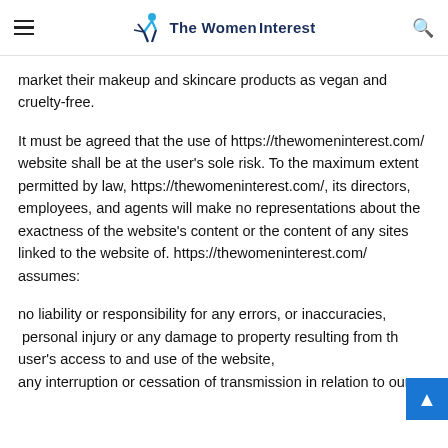The Women Interest
market their makeup and skincare products as vegan and cruelty-free.
It must be agreed that the use of https://thewomeninterest.com/ website shall be at the user's sole risk. To the maximum extent permitted by law, https://thewomeninterest.com/, its directors, employees, and agents will make no representations about the exactness of the website's content or the content of any sites linked to the website of. https://thewomeninterest.com/ assumes:
no liability or responsibility for any errors, or inaccuracies,
 personal injury or any damage to property resulting from the user's access to and use of the website,
any interruption or cessation of transmission in relation to our